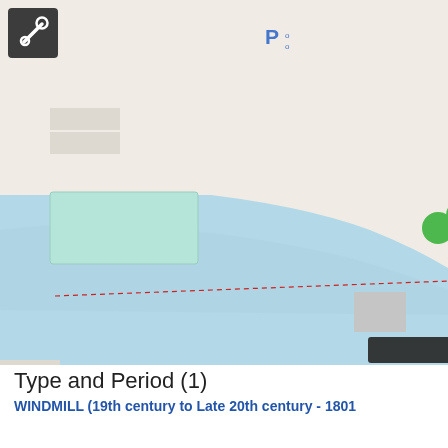[Figure (map): OpenStreetMap showing Stoke Bridge area over River Orwell in Ipswich. Shows Bridge Street running north-south, Stoke Bridge crossing the river, trees and park area on the west bank, a scale bar showing 50 m, and a 'MousePosition' control. A highlighted route marker labeled 'Against the stream' is visible near the bridge. Blue dashed boundary lines, orange road coloring, and teal water body (River Orwell) are visible.]
Type and Period (1)
WINDMILL (19th century to Late 20th century - 1801